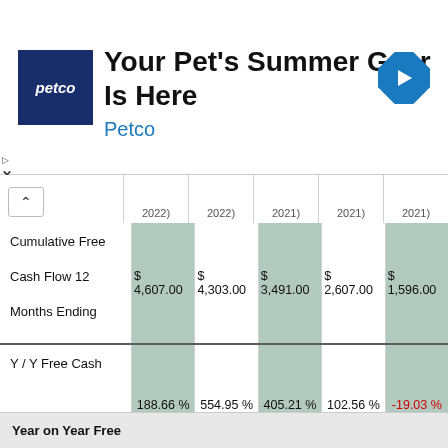[Figure (other): Petco advertisement banner: 'Your Pet's Summer Gear Is Here' with Petco logo and navigation arrow icon]
|  | 2022) | 2022) | 2021) | 2021) | 2021) |
| --- | --- | --- | --- | --- | --- |
| Cumulative Free Cash Flow 12 Months Ending | $ 4,607.00 | $ 4,303.00 | $ 3,491.00 | $ 2,607.00 | $ 1,596.00 |
| Y / Y Free Cash Flow Growth (TTM) | 188.66 % | 554.95 % | 405.21 % | 102.56 % | -19.03 % |
Year on Year Free